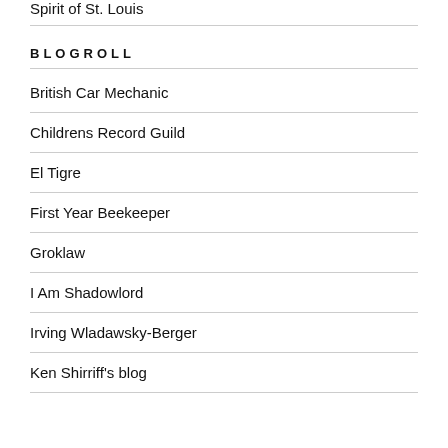Spirit of St. Louis
BLOGROLL
British Car Mechanic
Childrens Record Guild
El Tigre
First Year Beekeeper
Groklaw
I Am Shadowlord
Irving Wladawsky-Berger
Ken Shirriff's blog